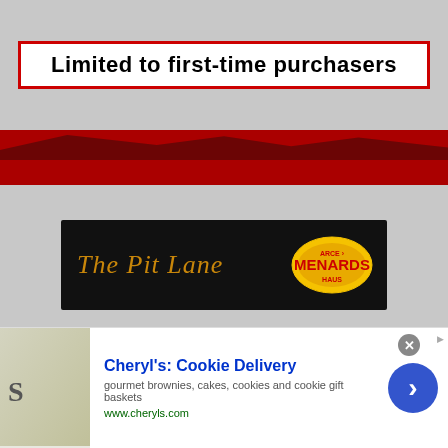Limited to first-time purchasers
[Figure (illustration): Red racing-themed banner with dark silhouette of racing cars/grandstand]
[Figure (logo): The Pit Lane logo on black background with Menards ARCE oval logo]
Latest Articles
Josh Williams Returning to DGM
[Figure (photo): Advertisement banner: Cheryl's Cookie Delivery - gourmet brownies, cakes, cookies and cookie gift baskets - www.cheryls.com]